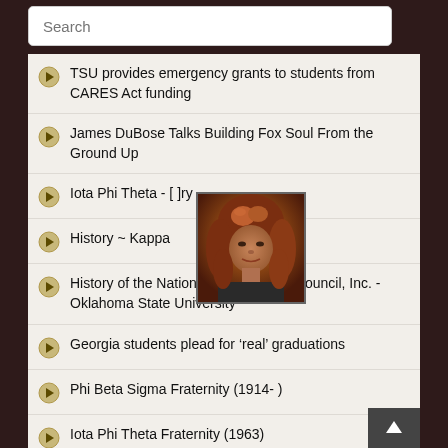Search
TSU provides emergency grants to students from CARES Act funding
James DuBose Talks Building Fox Soul From the Ground Up
Iota Phi Theta - [History]
History ~ Kappa [...]
[Figure (photo): Portrait photo of a woman with reddish-brown curly hair, partially overlapping list items]
History of the National Pan-Hellenic Council, Inc. - Oklahoma State University
Georgia students plead for ‘real’ graduations
Phi Beta Sigma Fraternity (1914- )
Iota Phi Theta Fraternity (1963)